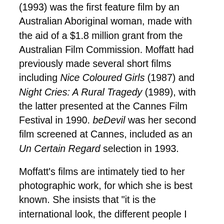(1993) was the first feature film by an Australian Aboriginal woman, made with the aid of a $1.8 million grant from the Australian Film Commission. Moffatt had previously made several short films including Nice Coloured Girls (1987) and Night Cries: A Rural Tragedy (1989), with the latter presented at the Cannes Film Festival in 1990. beDevil was her second film screened at Cannes, included as an Un Certain Regard selection in 1993.
Moffatt's films are intimately tied to her photographic work, for which she is best known. She insists that "it is the international look, the different people I have photographed in my work and their universal predicaments that has taken me and my images out into the world."1 beDevil shares many visual similarities to Moffatt's photography, most obviously through her theatrical, stylised and hyper-real aesthetic. There is persistent attention paid to composition in this film, and the framing of the shots are instantly evocative of her still images. beDevil also acts as an extension of the way that her photographic work alludes to narratives, yet also simultaneously brim with ambiguity. Moffatt's work both captures and elicits emotions, with her aesthetic intention one of eliciting an emotional response in the viewer.